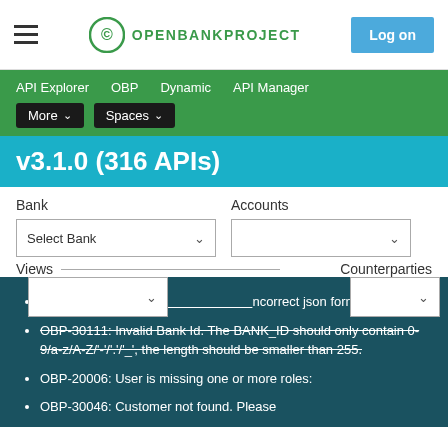OPENBANKPROJECT | Log on
API Explorer  OBP  Dynamic  API Manager  More ▾  Spaces ▾
v3.1.0 (316 APIs)
Bank  Accounts
Select Bank ∨  ∨
Views  Counterparties
OBP-10...: Incorrect json format.
OBP-30111: Invalid Bank Id. The BANK_ID should only contain 0-9/a-z/A-Z/'-'/'.'/'_', the length should be smaller than 255.
OBP-20006: User is missing one or more roles:
OBP-30046: Customer not found. Please